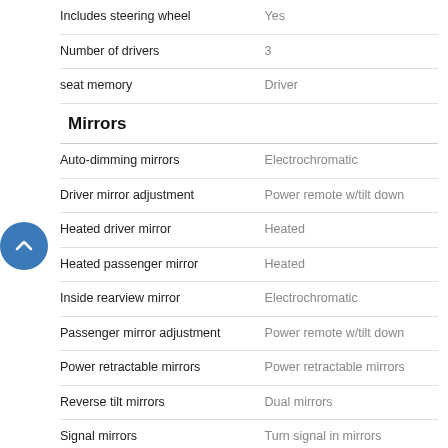| Feature | Value |
| --- | --- |
| Includes steering wheel | Yes |
| Number of drivers | 3 |
| seat memory | Driver |
Mirrors
| Feature | Value |
| --- | --- |
| Auto-dimming mirrors | Electrochromatic |
| Driver mirror adjustment | Power remote w/tilt down |
| Heated driver mirror | Heated |
| Heated passenger mirror | Heated |
| Inside rearview mirror | Electrochromatic |
| Passenger mirror adjustment | Power remote w/tilt down |
| Power retractable mirrors | Power retractable mirrors |
| Reverse tilt mirrors | Dual mirrors |
| Signal mirrors | Turn signal in mirrors |
| Vanity mirrors | Dual illuminated vanity mirrors |